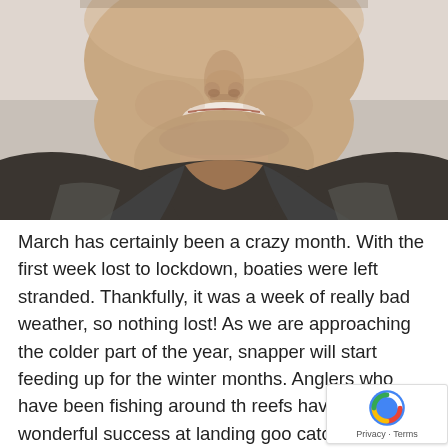[Figure (photo): Close-up photo of a smiling man's face and upper chest, wearing a dark jacket, cropped to show lower face and neck area]
March has certainly been a crazy month. With the first week lost to lockdown, boaties were left stranded. Thankfully, it was a week of really bad weather, so nothing lost! As we are approaching the colder part of the year, snapper will start feeding up for the winter months. Anglers who have been fishing around the reefs have had wonderful success at landing good catches. Reports of filling the hatch and quota in an